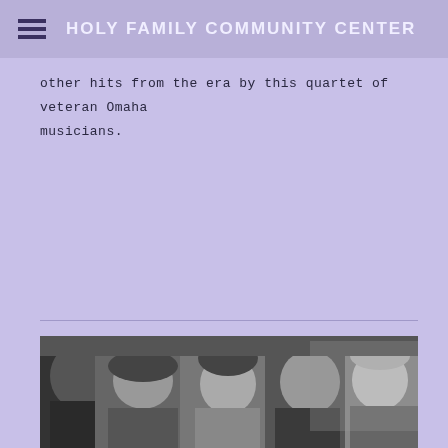HOLY FAMILY COMMUNITY CENTER
other hits from the era by this quartet of veteran Omaha musicians.
[Figure (photo): Black and white group photo of four veteran Omaha musicians, showing five people smiling and posing together indoors]